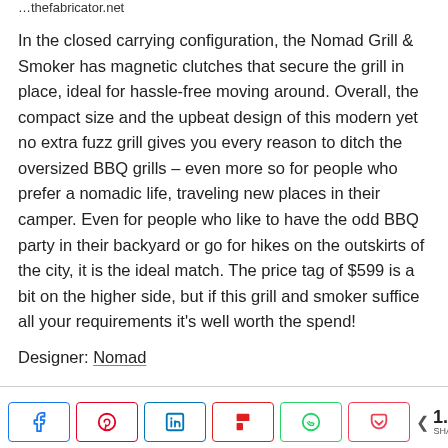…the url text…
In the closed carrying configuration, the Nomad Grill & Smoker has magnetic clutches that secure the grill in place, ideal for hassle-free moving around. Overall, the compact size and the upbeat design of this modern yet no extra fuzz grill gives you every reason to ditch the oversized BBQ grills – even more so for people who prefer a nomadic life, traveling new places in their camper. Even for people who like to have the odd BBQ party in their backyard or go for hikes on the outskirts of the city, it is the ideal match. The price tag of $599 is a bit on the higher side, but if this grill and smoker suffice all your requirements it's well worth the spend!
Designer: Nomad
[Figure (infographic): Social share buttons: Facebook, Pinterest, LinkedIn, Flipboard, WhatsApp, Pocket. Share count: 1.1K SHARES.]